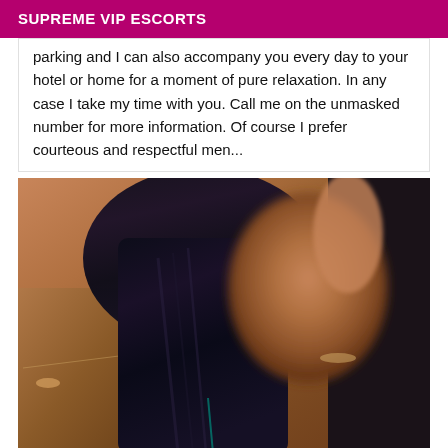SUPREME VIP ESCORTS
parking and I can also accompany you every day to your hotel or home for a moment of pure relaxation. In any case I take my time with you. Call me on the unmasked number for more information. Of course I prefer courteous and respectful men...
[Figure (photo): Photo of a woman with long dark braided hair, face blurred for privacy, dark skin tone, photographed in a room with wooden furniture visible in background.]